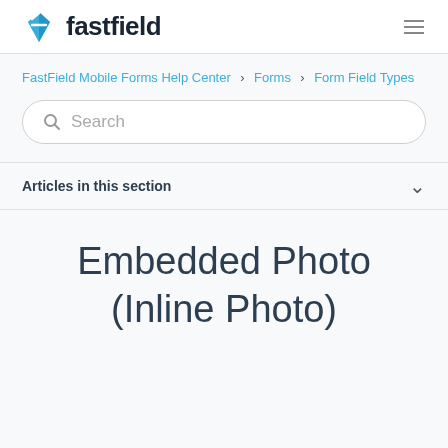fastfield
FastField Mobile Forms Help Center > Forms > Form Field Types
[Figure (other): Search input box with magnifying glass icon and placeholder text 'Search']
Articles in this section
Embedded Photo (Inline Photo)